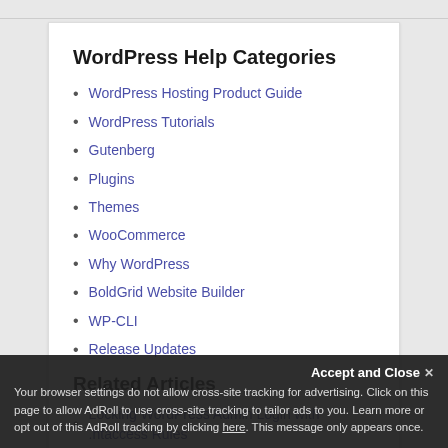WordPress Help Categories
WordPress Hosting Product Guide
WordPress Tutorials
Gutenberg
Plugins
Themes
WooCommerce
Why WordPress
BoldGrid Website Builder
WP-CLI
Release Updates
Related Articles
Locking WordPress Admin Login with .htaccess Rules
Slim SEO: How to Add Title Tags
Accept and Close
Your browser settings do not allow cross-site tracking for advertising. Click on this page to allow AdRoll to use cross-site tracking to tailor ads to you. Learn more or opt out of this AdRoll tracking by clicking here. This message only appears once.